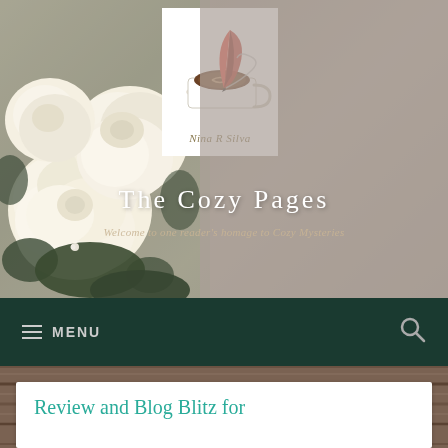[Figure (photo): Blog header image showing white roses/flowers on the left against a gray linen/fabric textured background, with a logo featuring a red feather quill pen in a white coffee cup and cursive signature 'Nina R. Silva' below it]
The Cozy Pages
Welcome to one reader's homage to Cozy Mysteries
≡ MENU
Review and Blog Blitz for